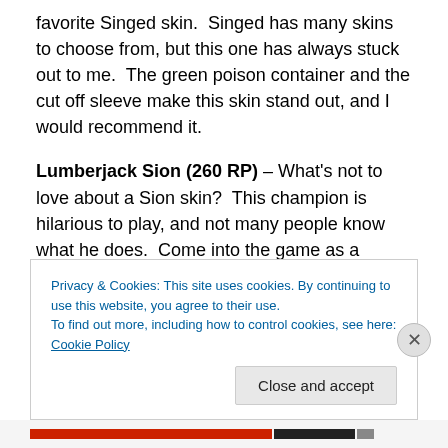favorite Singed skin. Singed has many skins to choose from, but this one has always stuck out to me. The green poison container and the cut off sleeve make this skin stand out, and I would recommend it.
Lumberjack Sion (260 RP) – What's not to love about a Sion skin? This champion is hilarious to play, and not many people know what he does. Come into the game as a Lumberjack and you will have your enemies shaking in their boots. (Warning: they may be shaking from laughter) I think that this is a hilarious skin, and will be buying it for
Privacy & Cookies: This site uses cookies. By continuing to use this website, you agree to their use.
To find out more, including how to control cookies, see here: Cookie Policy
Close and accept